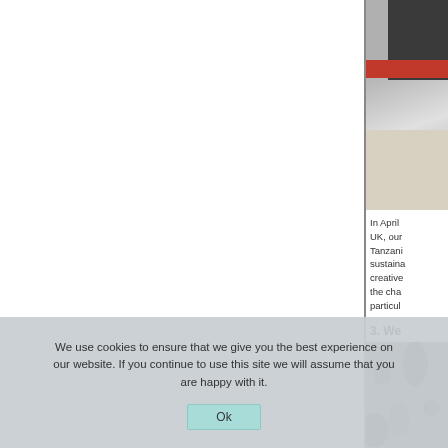[Figure (photo): Photo of printed papers/documents and a red item, partially visible on the right side of the page]
In April ... UK, our ... Tanzania ... sustaina... creative... the cha... particula...
3. We ...
[Figure (photo): Photo of stone/rock surface, partially visible at bottom right]
We use cookies to ensure that we give you the best experience on our website. If you continue to use this site we will assume that you are happy with it.